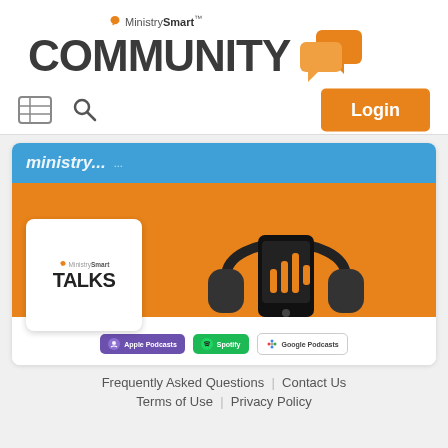[Figure (logo): MinistrySmart Community logo with chat bubble icons]
[Figure (screenshot): Navigation bar with grid icon, search icon, and orange Login button]
[Figure (illustration): MinistrySmart Talks podcast promotional image with headphones, mobile device with soundwave, and Apple Podcasts, Spotify, Google Podcasts badges]
Frequently Asked Questions  |  Contact Us
Terms of Use  |  Privacy Policy